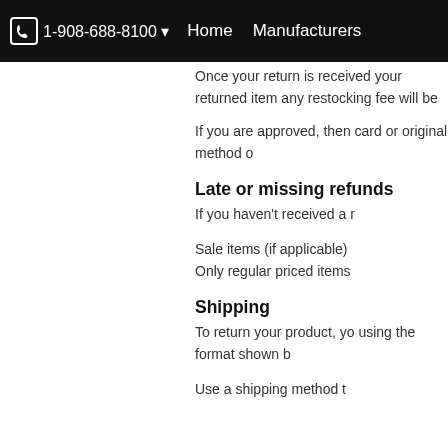📞 1-908-688-8100 ▼   Home   Manufacturers
Once your return is received your returned item any restocking fee will be
If you are approved, then card or original method o
Late or missing refunds
If you haven't received a r
Sale items (if applicable)
Only regular priced items
Shipping
To return your product, yo using the format shown b
Use a shipping method t